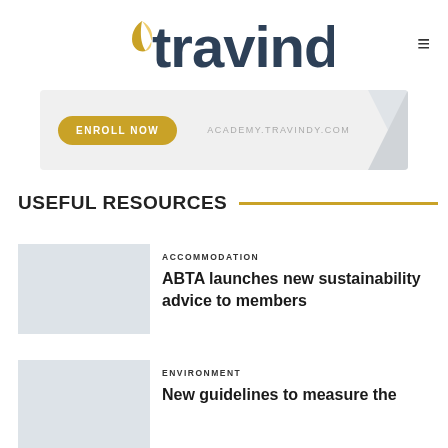[Figure (logo): Travindy logo with leaf icon and dark blue text, hamburger menu icon top right]
[Figure (infographic): Banner ad with gold 'ENROLL NOW' button and text 'ACADEMY.TRAVINDY.COM' on light grey background]
USEFUL RESOURCES
ACCOMMODATION
ABTA launches new sustainability advice to members
ENVIRONMENT
New guidelines to measure the